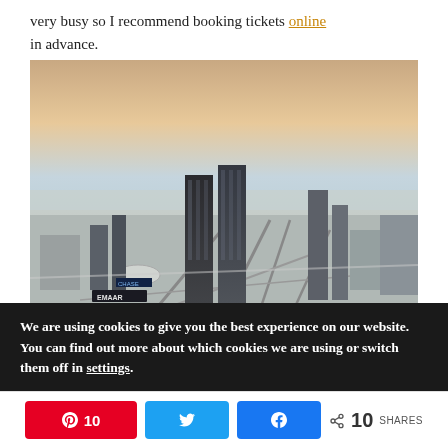very busy so I recommend booking tickets online in advance.
[Figure (photo): Aerial view of Dubai cityscape at dusk/sunset, showing skyscrapers, highways, and the city sprawling into the desert with a warm sunset sky in the background.]
We are using cookies to give you the best experience on our website.
You can find out more about which cookies we are using or switch them off in settings.
10  [Pinterest]  [Twitter]  [Facebook]  < 10 SHARES